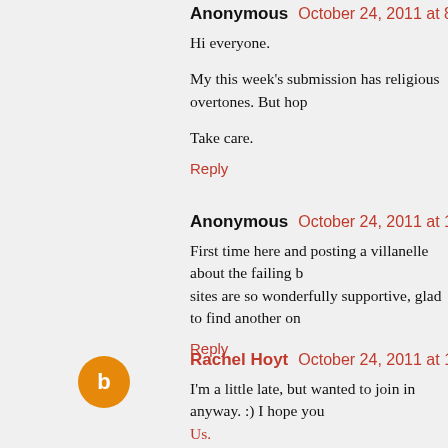Anonymous  October 24, 2011 at 8:24 AM
Hi everyone.
My this week's submission has religious overtones. But hop
Take care.
Reply
Anonymous  October 24, 2011 at 12:48 PM
First time here and posting a villanelle about the failing b sites are so wonderfully supportive, glad to find another on
Reply
Rachel Hoyt  October 24, 2011 at 1:40 PM
I'm a little late, but wanted to join in anyway. :) I hope you Us.
Reply